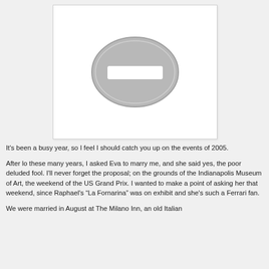[Figure (illustration): Placeholder image with a white background and a grey oval shape containing a white horizontal rectangle (no-image icon) in the center.]
It's been a busy year, so I feel I should catch you up on the events of 2005.
After lo these many years, I asked Eva to marry me, and she said yes, the poor deluded fool. I'll never forget the proposal; on the grounds of the Indianapolis Museum of Art, the weekend of the US Grand Prix. I wanted to make a point of asking her that weekend, since Raphael's “La Fornarina” was on exhibit and she's such a Ferrari fan.
We were married in August at The Milano Inn, an old Italian